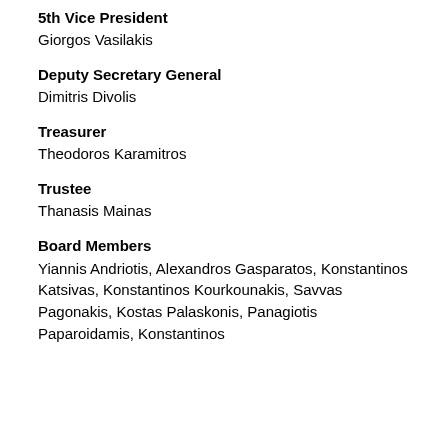5th Vice President
Giorgos Vasilakis
Deputy Secretary General
Dimitris Divolis
Treasurer
Theodoros Karamitros
Trustee
Thanasis Mainas
Board Members
Yiannis Andriotis, Alexandros Gasparatos, Konstantinos Katsivas, Konstantinos Kourkounakis, Savvas Pagonakis, Kostas Palaskonis, Panagiotis Paparoidamis, Konstantinos